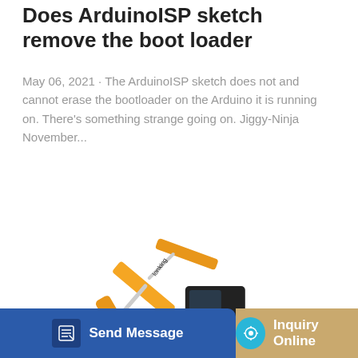Does ArduinoISP sketch remove the boot loader
May 06, 2021 · The ArduinoISP sketch does not and cannot erase the bootloader on the Arduino it is running on. There's something strange going on. Jiggy-Ninja November...
[Figure (other): Blue 'Learn More' button]
[Figure (photo): Yellow Lonking excavator/construction machine on white background]
[Figure (other): Bottom navigation bar with 'Send Message' button on blue background and 'Inquiry Online' button on tan/gold background]